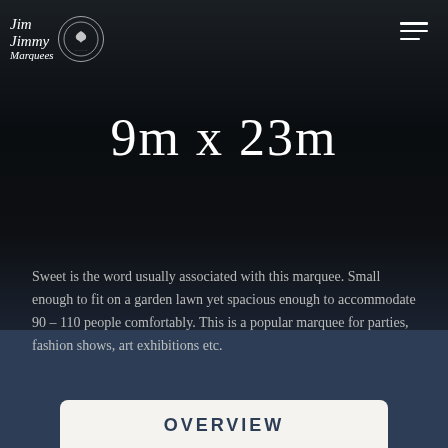[Figure (logo): Jim Jimmy Marquees logo — handwritten style text with a circular badge/seal containing a bird motif]
9m x 23m
Sweet is the word usually associated with this marquee. Small enough to fit on a garden lawn yet spacious enough to accommodate 90 – 110 people comfortably. This is a popular marquee for parties, fashion shows, art exhibitions etc.
OVERVIEW